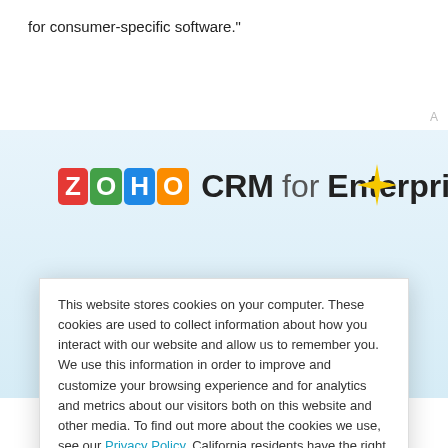for consumer-specific software."
[Figure (screenshot): Zoho CRM for Enterprise advertisement banner with the Zoho logo (colorful block letters Z, O, H, O), the text 'CRM for Enterprise', a yellow sparkle graphic, and the blue heading 'Simply different CRM']
This website stores cookies on your computer. These cookies are used to collect information about how you interact with our website and allow us to remember you. We use this information in order to improve and customize your browsing experience and for analytics and metrics about our visitors both on this website and other media. To find out more about the cookies we use, see our Privacy Policy. California residents have the right to direct us not to sell their personal information to third parties by filing an Opt-Out Request: Do Not Sell My Personal Info.